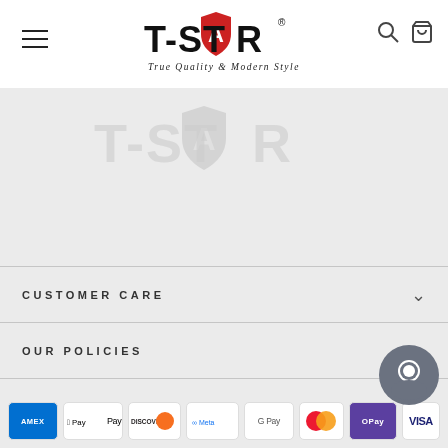[Figure (logo): T-STAR brand logo with shield icon containing red 'A', text 'T-STAR' in bold, tagline 'True Quality & Modern Style' in italic]
[Figure (logo): Faded/ghost T-STAR logo in grey at top of grey section]
CUSTOMER CARE
OUR POLICIES
SIGN UP AND SAVE
[Figure (infographic): Row of payment method icons: American Express, Apple Pay, Discover, Meta Pay, Google Pay, Mastercard, OPay, Visa (partially visible)]